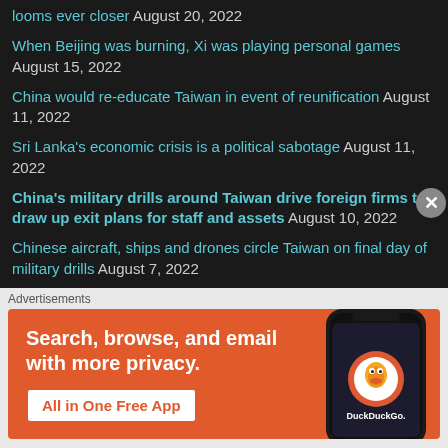looms ever closer  August 20, 2022
When Beijing was burning, Xi was playing personal games  August 15, 2022
China would re-educate Taiwan in event of reunification  August 11, 2022
Sri Lanka's economic crisis is a political sabotage  August 11, 2022
China's military drills around Taiwan drive foreign firms to draw up exit plans for staff and assets  August 10, 2022
Chinese aircraft, ships and drones circle Taiwan on final day of military drills  August 7, 2022
What may be China's response to Pelosi's Taiwan visit  August 3, 2022
A Quad of a new kind: Tech Quad  August 1, 2022
[Figure (screenshot): DuckDuckGo advertisement: 'Search, browse, and email with more privacy. All in One Free App' with a phone mockup showing DuckDuckGo app, on an orange background.]